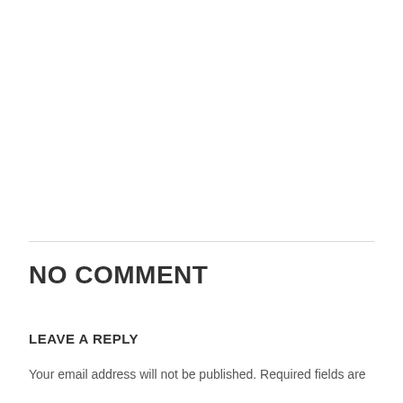NO COMMENT
LEAVE A REPLY
Your email address will not be published. Required fields are